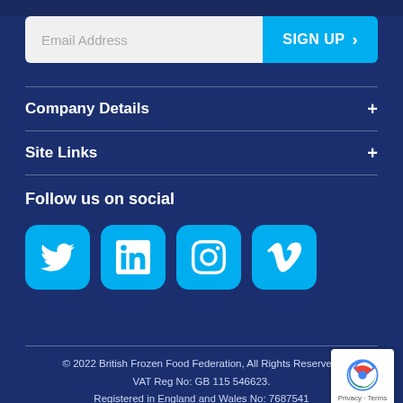[Figure (other): Email address input field with 'SIGN UP' button in cyan/blue on the right with a chevron arrow]
Company Details
Site Links
Follow us on social
[Figure (infographic): Four social media icon buttons in cyan rounded squares: Twitter, LinkedIn, Instagram, Vimeo]
© 2022 British Frozen Food Federation, All Rights Reserved. VAT Reg No: GB 115 546623. Registered in England and Wales No: 7687541